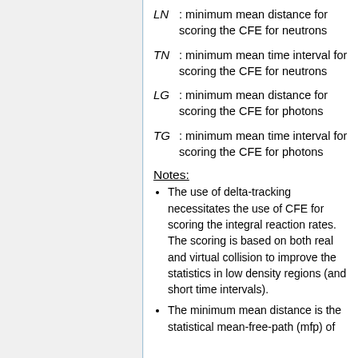LN: minimum mean distance for scoring the CFE for neutrons
TN: minimum mean time interval for scoring the CFE for neutrons
LG: minimum mean distance for scoring the CFE for photons
TG: minimum mean time interval for scoring the CFE for photons
Notes:
The use of delta-tracking necessitates the use of CFE for scoring the integral reaction rates. The scoring is based on both real and virtual collision to improve the statistics in low density regions (and short time intervals).
The minimum mean distance is the statistical mean-free-path (mfp) of